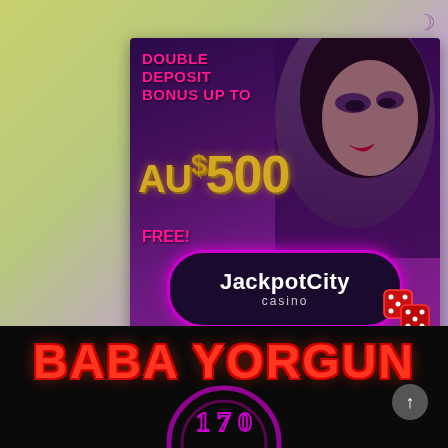[Figure (illustration): JackpotCity Casino advertisement banner showing a woman with red lips, text 'DOUBLE DEPOSIT BONUS UP TO AU$500 FREE!' with JackpotCity Casino logo and dice, on purple background]
[Figure (illustration): Partial view of a 'BABA YORGUN' text graphic in red block letters on black background, with decorative circular element below]